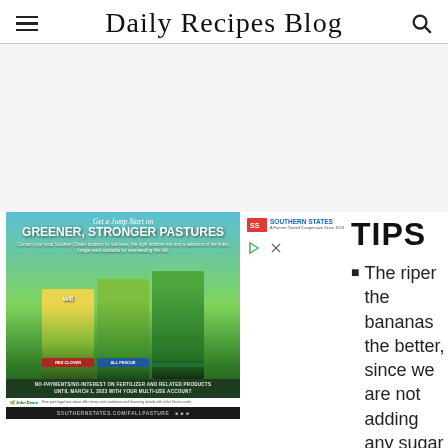Daily Recipes Blog
[Figure (illustration): Southern States advertisement for greener, stronger pastures with grass seed products]
TIPS
The riper the bananas the better, since we are not adding any sugar to the